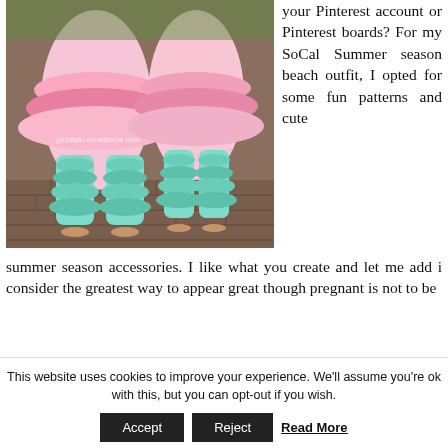[Figure (photo): Photo of children wearing colorful ruffled dresses and teal ruffled pants on a brick path. Watermark reads girlstutu.en.alibaba.com]
your Pinterest account or Pinterest boards? For my SoCal Summer season beach outfit, I opted for some fun patterns and cute summer season accessories. I like what you create and let me add i consider the greatest way to appear great though pregnant is not to be
This website uses cookies to improve your experience. We'll assume you're ok with this, but you can opt-out if you wish.